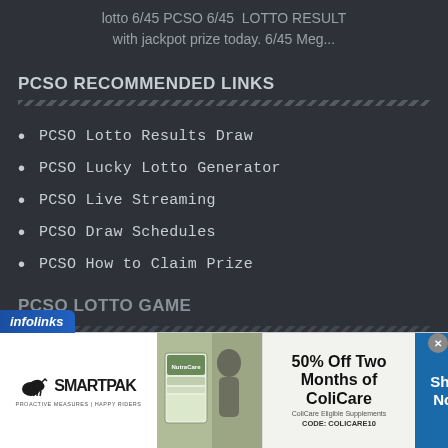lotto 6/45 PCSO 6/45  LOTTO RESULT with jackpot prize today. 6/45 Meg...
PCSO RECOMMENDED LINKS
PCSO Lotto Results Draw
PCSO Lucky Lotto Generator
PCSO Live Streaming
PCSO Draw Schedules
PCSO How to Claim Prize
PCSO LOTTO GAME
[Figure (infographic): SmartPak advertisement banner: 50% Off Two Months of ColiCare, ColiCare Eligible Supplements, CODE: COLICARE10, with Shop Now button]